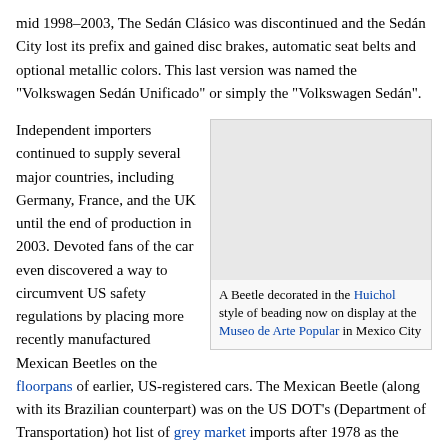mid 1998–2003, The Sedán Clásico was discontinued and the Sedán City lost its prefix and gained disc brakes, automatic seat belts and optional metallic colors. This last version was named the "Volkswagen Sedán Unificado" or simply the "Volkswagen Sedán".
[Figure (photo): A Beetle decorated in the Huichol style of beading, displayed at the Museo de Arte Popular in Mexico City. The image area shows a placeholder/grey box.]
A Beetle decorated in the Huichol style of beading now on display at the Museo de Arte Popular in Mexico City
Independent importers continued to supply several major countries, including Germany, France, and the UK until the end of production in 2003. Devoted fans of the car even discovered a way to circumvent US safety regulations by placing more recently manufactured Mexican Beetles on the floorpans of earlier, US-registered cars. The Mexican Beetle (along with its Brazilian counterpart) was on the US DOT's (Department of Transportation) hot list of grey market imports after 1978 as the vehicle did not meet safety regulations